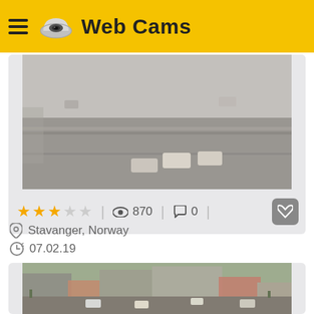Web Cams
[Figure (photo): Webcam feed showing a road intersection with cars, viewed from above, foggy/overcast conditions]
★★★☆☆ | 👁 870 | 💬 0
Stavanger, Norway
07.02.19
[Figure (photo): Webcam feed showing a city road with traffic, buildings in background, Stavanger Norway, overcast winter day]